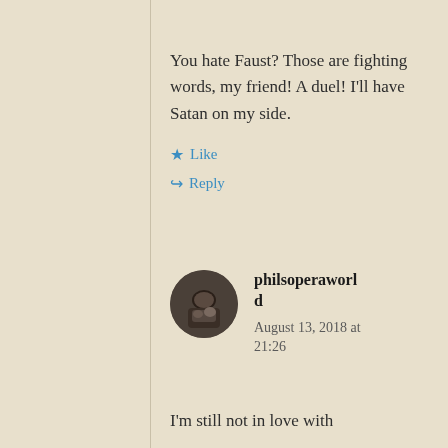You hate Faust? Those are fighting words, my friend! A duel! I'll have Satan on my side.
★ Like
↪ Reply
[Figure (photo): Round avatar photo of philsoperaworld user, dark toned image]
philsoperaworld
August 13, 2018 at 21:26
I'm still not in love with